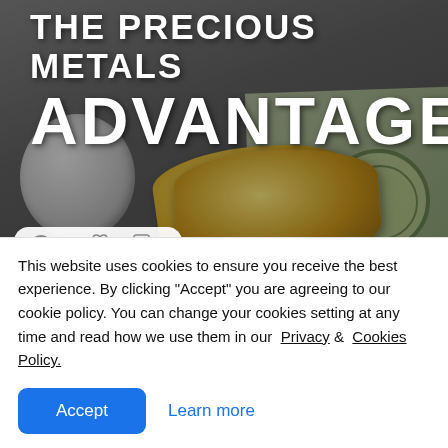[Figure (photo): Photo of gold coins stacked on top of US dollar bills with a silver coin partially visible on the left side, overlaid with large white text reading 'THE PRECIOUS METALS ADVANTAGE'. Below the image a stats bar shows 659 views, 0 likes, 0 comments.]
The Precious Metals Advantage
Added by moneymetals
This website uses cookies to ensure you receive the best experience. By clicking "Accept" you are agreeing to our cookie policy. You can change your cookies setting at any time and read how we use them in our  Privacy &  Cookies Policy.